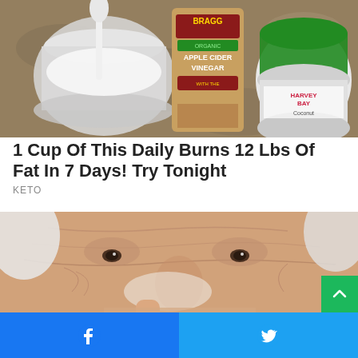[Figure (photo): Photo of baking soda in a container with a spoon, a bottle of Bragg Organic Apple Cider Vinegar, and a jar of Harvey Bay Organic Coconut product on a granite countertop.]
1 Cup Of This Daily Burns 12 Lbs Of Fat In 7 Days! Try Tonight
KETO
[Figure (photo): Close-up photo of an elderly woman's face with white hair, applying cream or a substance near her nose with her finger. The skin shows wrinkles and aging.]